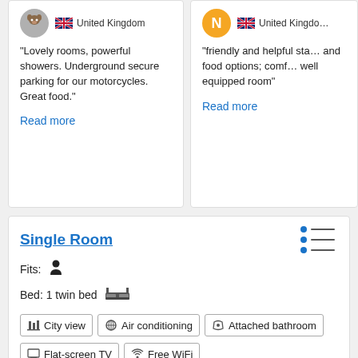“Lovely rooms, powerful showers. Underground secure parking for our motorcycles. Great food.”
Read more
“friendly and helpful sta... and food options; comf... well equipped room”
Read more
Single Room
Fits: 👤
Bed: 1 twin bed 🛏
City view | Air conditioning | Attached bathroom | Flat-screen TV | Free WiFi